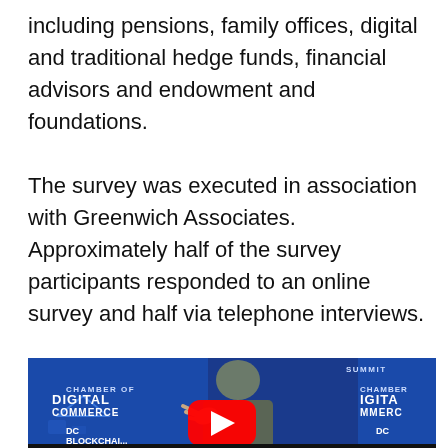including pensions, family offices, digital and traditional hedge funds, financial advisors and endowment and foundations.
The survey was executed in association with Greenwich Associates. Approximately half of the survey participants responded to an online survey and half via telephone interviews.
[Figure (screenshot): A video thumbnail showing a man in a suit gesturing with his hand at what appears to be a Chamber of Digital Commerce DC Blockchain Summit event. A red YouTube play button is overlaid in the center. The background shows blue branded banners with 'CHAMBER OF DIGITAL COMMERCE' and 'DC BLOCKCHAIN' text.]